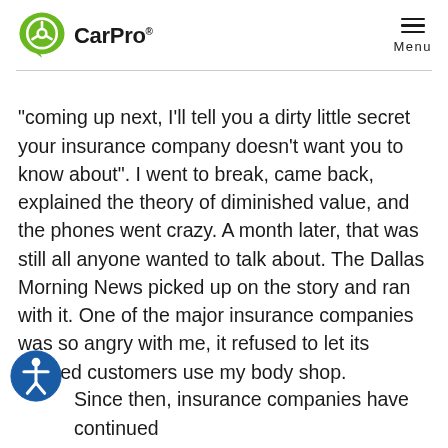CarPro | Menu
"coming up next, I'll tell you a dirty little secret your insurance company doesn't want you to know about". I went to break, came back, explained the theory of diminished value, and the phones went crazy. A month later, that was still all anyone wanted to talk about. The Dallas Morning News picked up on the story and ran with it. One of the major insurance companies was so angry with me, it refused to let its insured customers use my body shop.
Since then, insurance companies have continued